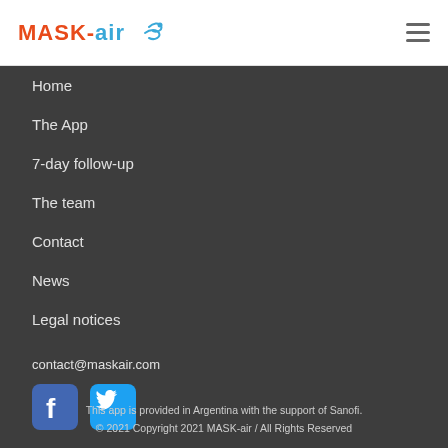MASK-air
Home
The App
7-day follow-up
The team
Contact
News
Legal notices
contact@maskair.com
[Figure (logo): Facebook and Twitter social media icons]
This app is provided in Argentina with the support of Sanofi.
© 2021 Copyright 2021 MASK-air / All Rights Reserved